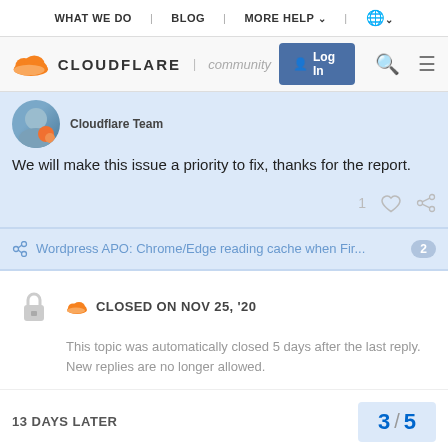WHAT WE DO | BLOG | MORE HELP | (globe)
[Figure (logo): Cloudflare community logo bar with Log In button, search and menu icons]
Cloudflare Team
We will make this issue a priority to fix, thanks for the report.
Wordpress APO: Chrome/Edge reading cache when Fir... 2
CLOSED ON NOV 25, '20
This topic was automatically closed 5 days after the last reply. New replies are no longer allowed.
13 DAYS LATER
3 / 5